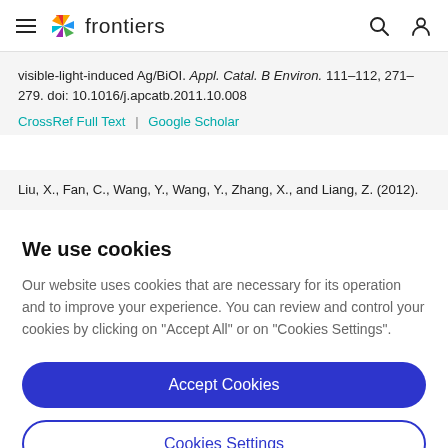frontiers
visible-light-induced Ag/BiOI. Appl. Catal. B Environ. 111–112, 271–279. doi: 10.1016/j.apcatb.2011.10.008
CrossRef Full Text | Google Scholar
Liu, X., Fan, C., Wang, Y., Wang, Y., Zhang, X., and Liang, Z. (2012).
We use cookies
Our website uses cookies that are necessary for its operation and to improve your experience. You can review and control your cookies by clicking on "Accept All" or on "Cookies Settings".
Accept Cookies
Cookies Settings